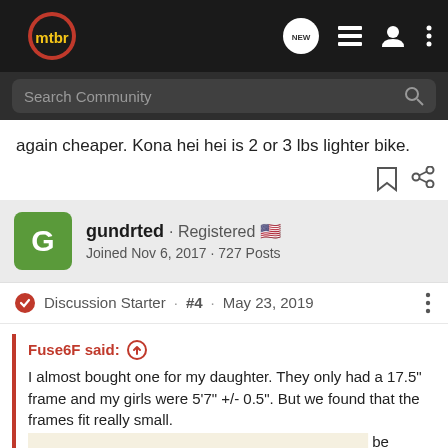[Figure (screenshot): MTBR website navigation bar with logo, NEW chat bubble icon, list icon, user icon, and more options icon]
[Figure (screenshot): Search Community input bar with magnifying glass icon on dark background]
again cheaper. Kona hei hei is 2 or 3 lbs lighter bike.
gundrted · Registered 🇺🇸
Joined Nov 6, 2017 · 727 Posts
Discussion Starter · #4 · May 23, 2019
Fuse6F said:
I almost bought one for my daughter. They only had a 17.5" frame and my girls were 5'7" +/- 0.5". But we found that the frames fit really small. It will... be happy. It was a heav... etter
[Figure (advertisement): Cabela's Introducing ASCEND Adventure Bikes advertisement with SHOP NOW button]